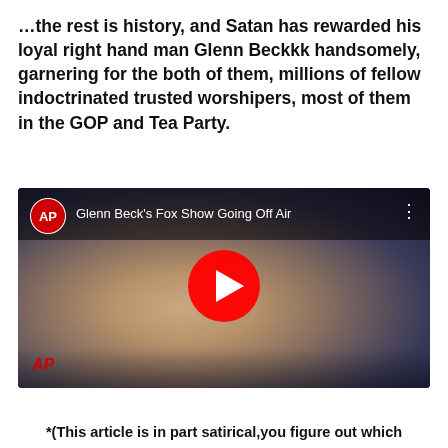...the rest is history, and Satan has rewarded his loyal right hand man Glenn Beckkk handsomely, garnering for the both of them, millions of fellow indoctrinated trusted worshipers, most of them in the GOP and Tea Party.
[Figure (screenshot): YouTube video thumbnail showing AP News video titled 'Glenn Beck's Fox Show Going Off Air'. Shows a man in a dark suit pointing upward, with a red YouTube play button overlay and AP logo.]
*(This article is in part satirical,you figure out which